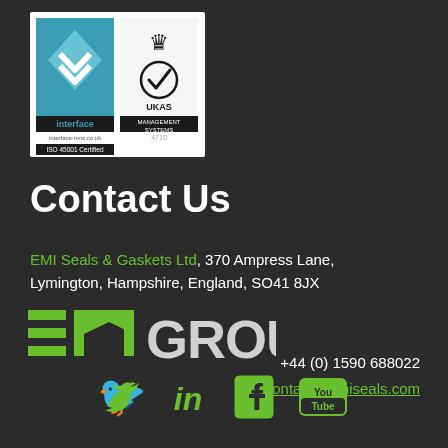[Figure (logo): Interface / UKAS Management Systems ISO 45001 Certified logo badge]
Contact Us
EMI Seals & Gaskets Ltd, 370 Ampress Lane, Lymington, Hampshire, England, SO41 8JX
[Figure (logo): EMI GROUP logo with green stylized EM letters and white GROUP text]
+44 (0) 1590 688022
contact@emiseals.com
[Figure (infographic): Social media icons: Twitter, LinkedIn, Facebook, YouTube]